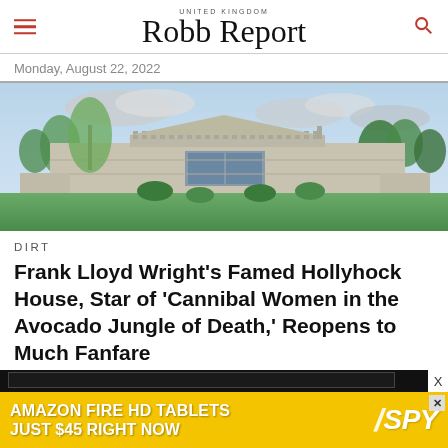UNITED KINGDOM Robb Report
Monday, August 22, 2022
[Figure (photo): Exterior photograph of Frank Lloyd Wright's Hollyhock House — a low horizontal concrete building with decorative frieze along the roofline, surrounded by green lawn and trees under a cloudy sky.]
DIRT
Frank Lloyd Wright's Famed Hollyhock House, Star of 'Cannibal Women in the Avocado Jungle of Death,' Reopens to Much Fanfare
[Figure (other): Advertisement banner: Amazon Fire HD Tablets Just $45 Right Now — SPY logo on yellow background]